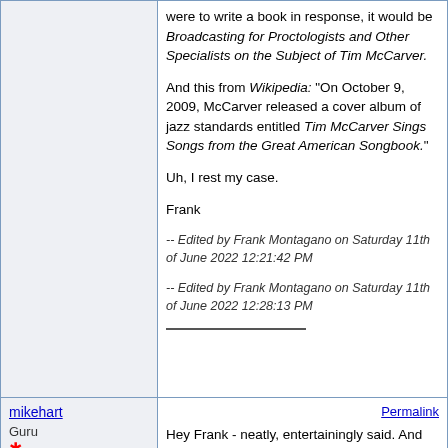were to write a book in response, it would be Broadcasting for Proctologists and Other Specialists on the Subject of Tim McCarver.

And this from Wikipedia: "On October 9, 2009, McCarver released a cover album of jazz standards entitled Tim McCarver Sings Songs from the Great American Songbook."

Uh, I rest my case.

Frank

-- Edited by Frank Montagano on Saturday 11th of June 2022 12:21:42 PM

-- Edited by Frank Montagano on Saturday 11th of June 2022 12:28:13 PM
mikehart
Guru
Status: Offline
Posts: 202
Permalink

Hey Frank - neatly, entertainingly said. And on target. I would write a lengthy reply, trying, and doubtless failing, to reach some of the flat out funny heights you did